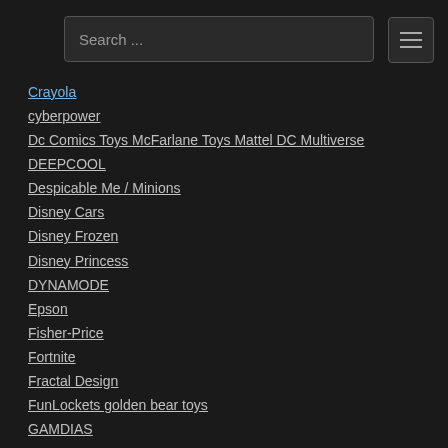Search ...
Crayola
cyberpower
Dc Comics Toys McFarlane Toys Mattel DC Multiverse
DEEPCOOL
Despicable Me / Minions
Disney Cars
Disney Frozen
Disney Princess
DYNAMODE
Epson
Fisher-Price
Fortnite
Fractal Design
FunLockets golden bear toys
GAMDIAS
HAMA
HANNSPREE LIMITED
Harry Potter
Hasbro
Hey Duggee golden bear toys
HCST